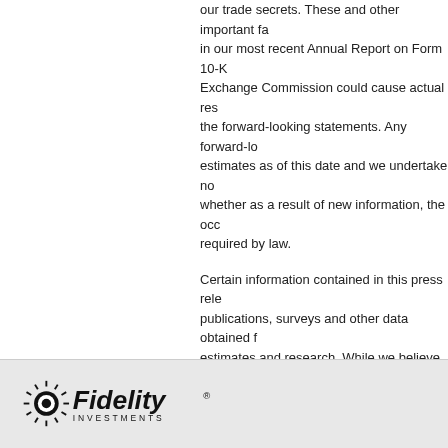our trade secrets. These and other important factors discussed in our most recent Annual Report on Form 10-K filed with the Exchange Commission could cause actual results to differ from the forward-looking statements. Any forward-looking statements estimates as of this date and we undertake no obligation to update whether as a result of new information, the occurrence of certain events required by law.
Certain information contained in this press release relating to publications, surveys and other data obtained from third-party estimates and research. While we believe these sources are reliable as of this press release, we have not independently verified the adequacy, fairness, accuracy or completeness of information from these sources.
View source version on businesswire.com: https://www.businesswire.com/news/home/202...
Source: SQZ Biotechnologies (SQZ)
[Figure (logo): Fidelity Investments logo — a starburst/sunburst icon with 'Fidelity' in bold italic text and 'INVESTMENTS' in small caps beneath]